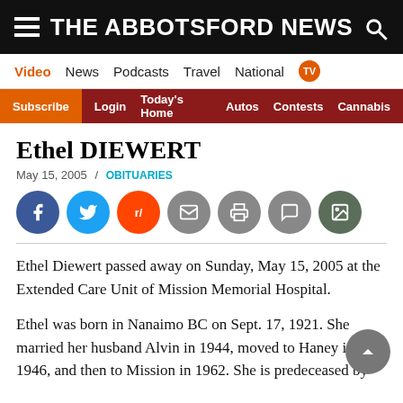THE ABBOTSFORD NEWS
Ethel DIEWERT
May 15, 2005 / OBITUARIES
Ethel Diewert passed away on Sunday, May 15, 2005 at the Extended Care Unit of Mission Memorial Hospital.
Ethel was born in Nanaimo BC on Sept. 17, 1921. She married her husband Alvin in 1944, moved to Haney in 1946, and then to Mission in 1962. She is predeceased by